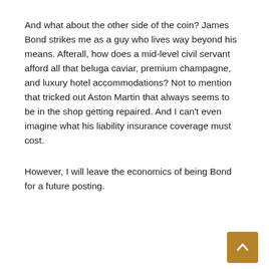And what about the other side of the coin? James Bond strikes me as a guy who lives way beyond his means. Afterall, how does a mid-level civil servant afford all that beluga caviar, premium champagne, and luxury hotel accommodations? Not to mention that tricked out Aston Martin that always seems to be in the shop getting repaired. And I can't even imagine what his liability insurance coverage must cost.
However, I will leave the economics of being Bond for a future posting.